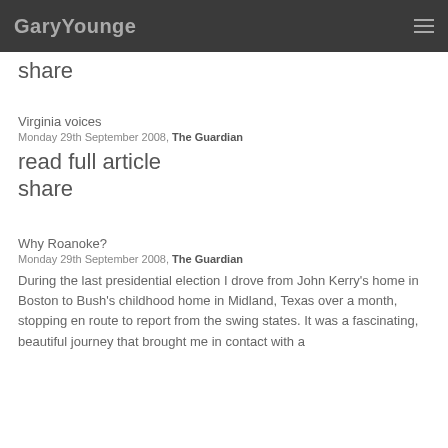GaryYounge
share
Virginia voices
Monday 29th September 2008, The Guardian
read full article
share
Why Roanoke?
Monday 29th September 2008, The Guardian
During the last presidential election I drove from John Kerry's home in Boston to Bush's childhood home in Midland, Texas over a month, stopping en route to report from the swing states. It was a fascinating, beautiful journey that brought me in contact with a